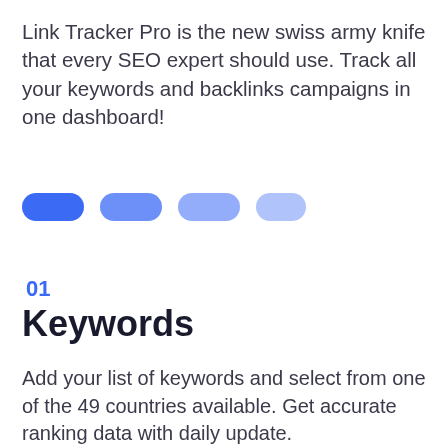Link Tracker Pro is the new swiss army knife that every SEO expert should use. Track all your keywords and backlinks campaigns in one dashboard!
[Figure (infographic): Four blue rounded pill/capsule shapes in a horizontal row, decreasing in opacity from left to right, serving as decorative navigation indicators.]
01
Keywords
Add your list of keywords and select from one of the 49 countries available. Get accurate ranking data with daily update.